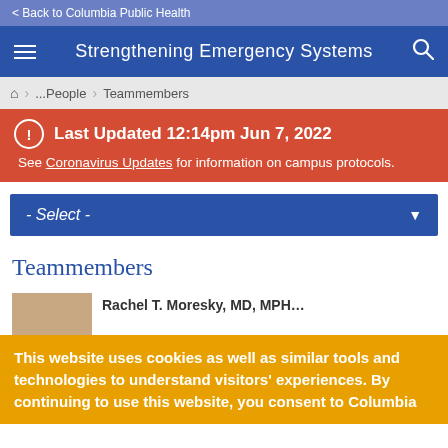< Back to Columbia Public Health
Strengthening Emergency Systems
... People > Teammembers
Last Updated 12:14pm Jun 7, 2022
See Coronavirus Updates for information on campus protocols.
- Select -
Teammembers
This website uses cookies as well as similar tools and technologies to understand visitors' experiences. By continuing to use this website, you consent to Columbia